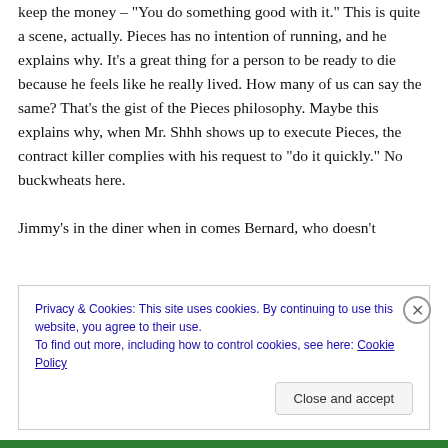keep the money – "You do something good with it." This is quite a scene, actually. Pieces has no intention of running, and he explains why. It's a great thing for a person to be ready to die because he feels like he really lived. How many of us can say the same? That's the gist of the Pieces philosophy. Maybe this explains why, when Mr. Shhh shows up to execute Pieces, the contract killer complies with his request to "do it quickly." No buckwheats here.

Jimmy's in the diner when in comes Bernard, who doesn't
Privacy & Cookies: This site uses cookies. By continuing to use this website, you agree to their use.
To find out more, including how to control cookies, see here: Cookie Policy